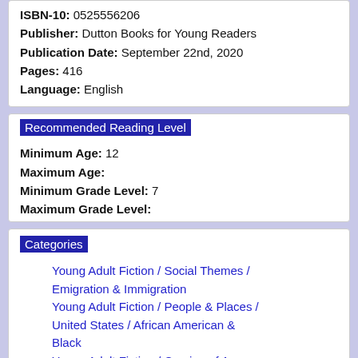ISBN-10: 0525556206
Publisher: Dutton Books for Young Readers
Publication Date: September 22nd, 2020
Pages: 416
Language: English
Recommended Reading Level
Minimum Age: 12
Maximum Age:
Minimum Grade Level: 7
Maximum Grade Level:
Categories
Young Adult Fiction / Social Themes / Emigration & Immigration
Young Adult Fiction / People & Places / United States / African American & Black
Young Adult Fiction / Coming of A…